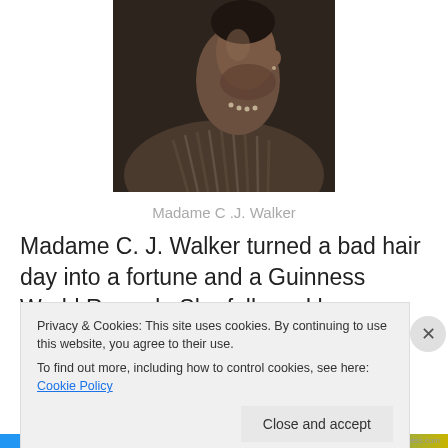[Figure (photo): Sepia-toned portrait photograph of Madame C.J. Walker, showing her in profile/three-quarter view wearing a fur stole and pearl necklace.]
Madame C .J. Walker
Madame C. J. Walker turned a bad hair day into a fortune and a Guinness World Record.  She followed her dream,
[partial line obscured by cookie banner]
Privacy & Cookies: This site uses cookies. By continuing to use this website, you agree to their use.
To find out more, including how to control cookies, see here: Cookie Policy
Close and accept